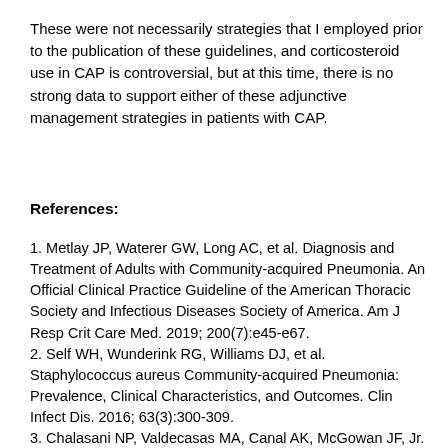These were not necessarily strategies that I employed prior to the publication of these guidelines, and corticosteroid use in CAP is controversial, but at this time, there is no strong data to support either of these adjunctive management strategies in patients with CAP.
References:
1. Metlay JP, Waterer GW, Long AC, et al. Diagnosis and Treatment of Adults with Community-acquired Pneumonia. An Official Clinical Practice Guideline of the American Thoracic Society and Infectious Diseases Society of America. Am J Resp Crit Care Med. 2019; 200(7):e45-e67.
2. Self WH, Wunderink RG, Williams DJ, et al. Staphylococcus aureus Community-acquired Pneumonia: Prevalence, Clinical Characteristics, and Outcomes. Clin Infect Dis. 2016; 63(3):300-309.
3. Chalasani NP, Valdecasas MA, Canal AK, McGowan JF, Jr.